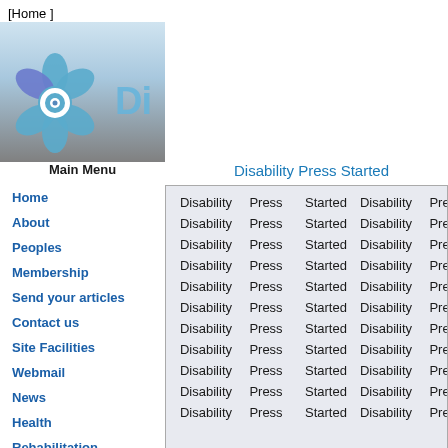[Home ]
[Figure (logo): Website logo with blue flower graphic and partial text 'Di' on blue gradient background]
Main Menu
Home
About
Peoples
Membership
Send your articles
Contact us
Site Facilities
Webmail
News
Health
Rehabilitation
Convention
Disability Press Started
| Disability | Press | Started | Disability | Press | Started |
| --- | --- | --- | --- | --- | --- |
| Disability | Press | Started | Disability | Press | Started |
| Disability | Press | Started | Disability | Press | Started |
| Disability | Press | Started | Disability | Press | Started |
| Disability | Press | Started | Disability | Press | Started |
| Disability | Press | Started | Disability | Press | Started |
| Disability | Press | Started | Disability | Press | Started |
| Disability | Press | Started | Disability | Press | Started |
| Disability | Press | Started | Disability | Press | Started |
| Disability | Press | Started | Disability | Press | Started |
| Disability | Press | Started | Disability | Press | Started |
| Disability | Press | Started | Disability | Press | Started |